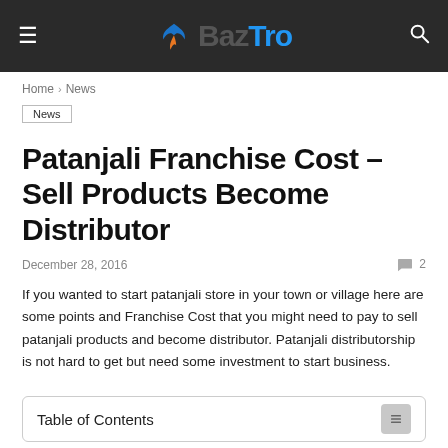BazTro
Home › News
News
Patanjali Franchise Cost – Sell Products Become Distributor
December 28, 2016   💬 2
If you wanted to start patanjali store in your town or village here are some points and Franchise Cost that you might need to pay to sell patanjali products and become distributor. Patanjali distributorship is not hard to get but need some investment to start business.
Table of Contents